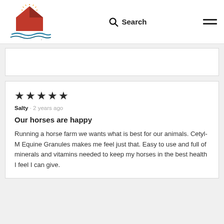MannaPro - nurturing life. [logo] Search [hamburger menu]
[Figure (screenshot): Partial top of a review card (white box, mostly empty, cut off at top)]
★★★★★
Salty · 2 years ago
Our horses are happy
Running a horse farm we wants what is best for our animals. Cetyl-M Equine Granules makes me feel just that. Easy to use and full of minerals and vitamins needed to keep my horses in the best health I feel I can give.